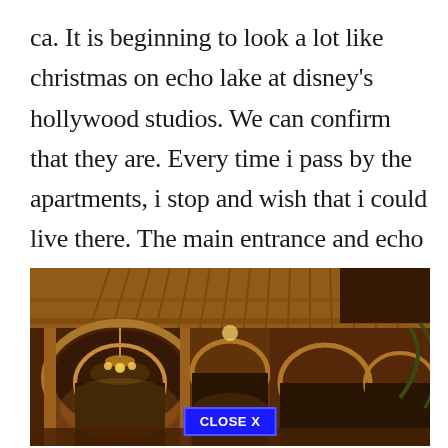ca. It is beginning to look a lot like christmas on echo lake at disney's hollywood studios. We can confirm that they are. Every time i pass by the apartments, i stop and wish that i could live there. The main entrance and echo lake, and toy story land.
[Figure (photo): Interior of an ornate building with stone arched hallways, warm amber/golden lighting, chandeliers, and decorative wooden ceiling. A 'CLOSE X' button appears at the bottom center of the image.]